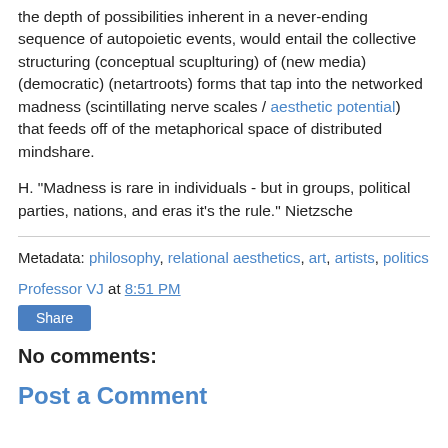the depth of possibilities inherent in a never-ending sequence of autopoietic events, would entail the collective structuring (conceptual scuplturing) of (new media) (democratic) (netartroots) forms that tap into the networked madness (scintillating nerve scales / aesthetic potential) that feeds off of the metaphorical space of distributed mindshare.
H. "Madness is rare in individuals - but in groups, political parties, nations, and eras it's the rule." Nietzsche
Metadata: philosophy, relational aesthetics, art, artists, politics
Professor VJ at 8:51 PM
Share
No comments:
Post a Comment